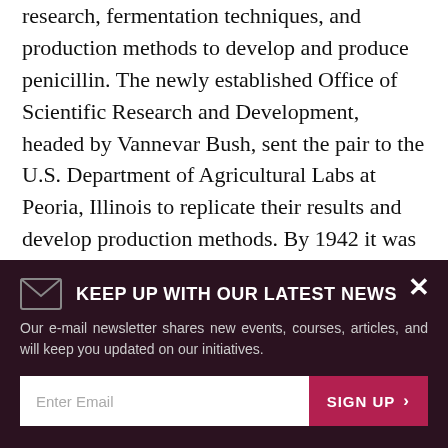research, fermentation techniques, and production methods to develop and produce penicillin. The newly established Office of Scientific Research and Development, headed by Vannevar Bush, sent the pair to the U.S. Department of Agricultural Labs at Peoria, Illinois to replicate their results and develop production methods. By 1942 it was tested on one patient and enough penicillin was available to treat ten patients.
Nearly 1.7 billion units of penicillin were produced by D-day, 1944, by rapidly growing pharmaceutical
KEEP UP WITH OUR LATEST NEWS
Our e-mail newsletter shares new events, courses, articles, and will keep you updated on our initiatives.